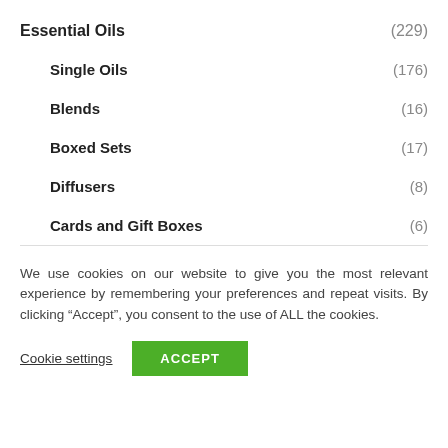Essential Oils (229)
Single Oils (176)
Blends (16)
Boxed Sets (17)
Diffusers (8)
Cards and Gift Boxes (6)
We use cookies on our website to give you the most relevant experience by remembering your preferences and repeat visits. By clicking “Accept”, you consent to the use of ALL the cookies.
Cookie settings  ACCEPT